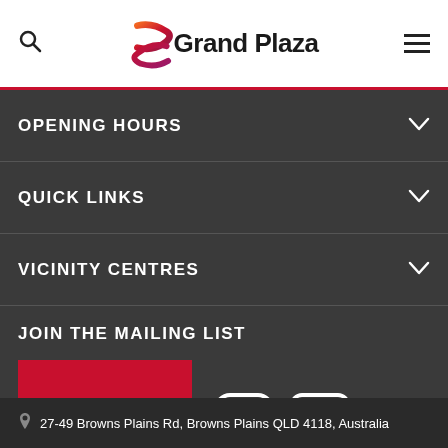Grand Plaza
OPENING HOURS
QUICK LINKS
VICINITY CENTRES
JOIN THE MAILING LIST
SIGN UP
27-49 Browns Plains Rd, Browns Plains QLD 4118, Australia